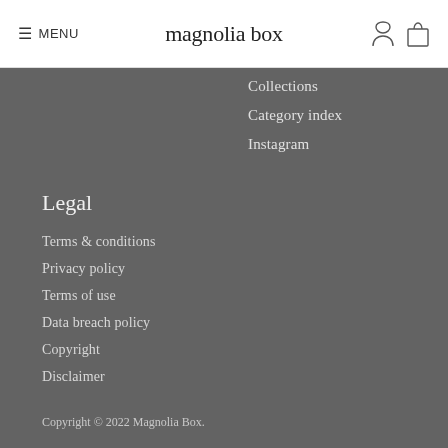≡ MENU | magnolia box
Collections
Category index
Instagram
Legal
Terms & conditions
Privacy policy
Terms of use
Data breach policy
Copyright
Disclaimer
Copyright © 2022 Magnolia Box.